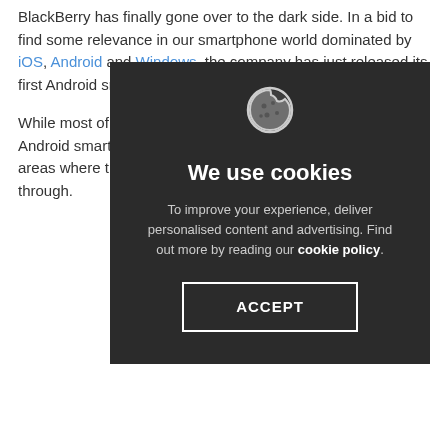BlackBerry has finally gone over to the dark side. In a bid to find some relevance in our smartphone world dominated by iOS, Android and Windows, the company has just released its first Android smart...
While most of the Android smart... areas where t... through.
[Figure (screenshot): Cookie consent overlay with dark background showing cookie icon, title 'We use cookies', body text about personalised content and cookie policy, and an ACCEPT button.]